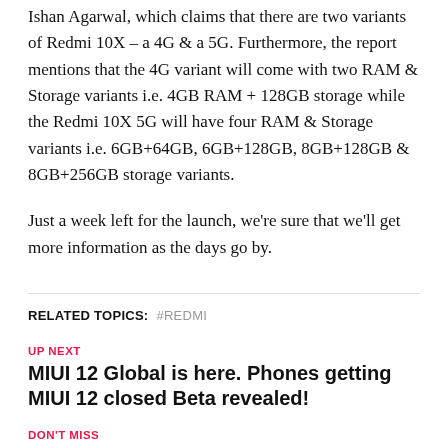Ishan Agarwal, which claims that there are two variants of Redmi 10X – a 4G & a 5G. Furthermore, the report mentions that the 4G variant will come with two RAM & Storage variants i.e. 4GB RAM + 128GB storage while the Redmi 10X 5G will have four RAM & Storage variants i.e. 6GB+64GB, 6GB+128GB, 8GB+128GB & 8GB+256GB storage variants.
Just a week left for the launch, we're sure that we'll get more information as the days go by.
RELATED TOPICS: #REDMI
UP NEXT
MIUI 12 Global is here. Phones getting MIUI 12 closed Beta revealed!
DON'T MISS
Realme teases Realme Watch, coming soon to India!